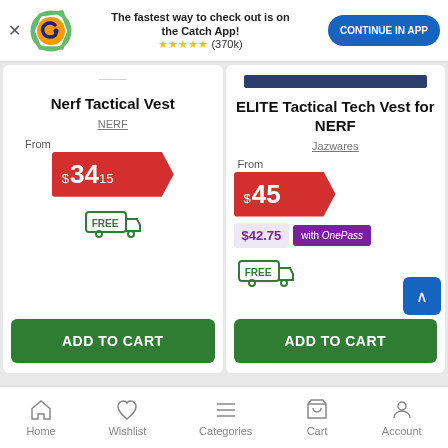[Figure (screenshot): App banner with Catch logo, 'The fastest way to check out is on the Catch App!' text, 5-star rating (370k reviews), and 'CONTINUE IN APP' button]
Nerf Tactical Vest
NERF
From $34.15
FREE delivery icon
ADD TO CART
ELITE Tactical Tech Vest for NERF
Jazwares
From $45
$42.75 with OnePass
FREE delivery icon
ADD TO CART
Home   Wishlist   Categories   Cart   Account